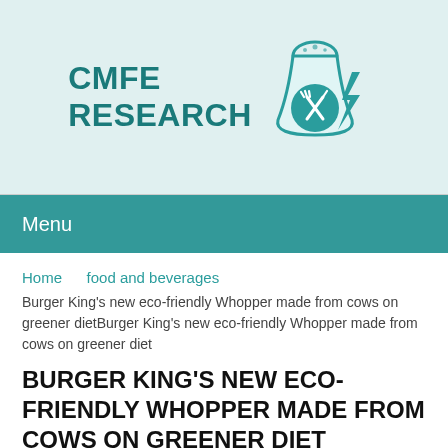[Figure (logo): CMFE Research logo with a laboratory flask containing crossed fork and knife icon, teal color, with a lightning bolt]
Menu
Home   food and beverages
Burger King's new eco-friendly Whopper made from cows on greener dietBurger King's new eco-friendly Whopper made from cows on greener diet
BURGER KING'S NEW ECO-FRIENDLY WHOPPER MADE FROM COWS ON GREENER DIET
Akshay Kodari   July 16, 2020   Food & Beverages